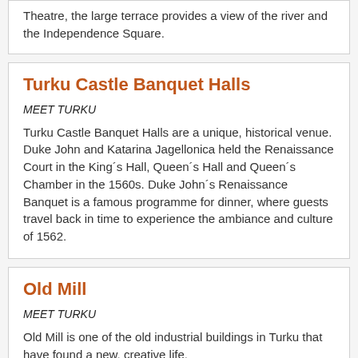Theatre, the large terrace provides a view of the river and the Independence Square.
Turku Castle Banquet Halls
MEET TURKU
Turku Castle Banquet Halls are a unique, historical venue. Duke John and Katarina Jagellonica held the Renaissance Court in the Kingʼs Hall, Queenʼs Hall and Queenʼs Chamber in the 1560s. Duke Johnʼs Renaissance Banquet is a famous programme for dinner, where guests travel back in time to experience the ambiance and culture of 1562.
Old Mill
MEET TURKU
Old Mill is one of the old industrial buildings in Turku that have found a new, creative life.